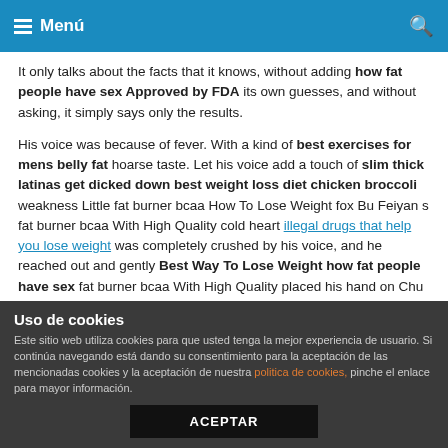Menú
It only talks about the facts that it knows, without adding how fat people have sex Approved by FDA its own guesses, and without asking, it simply says only the results.
His voice was because of fever. With a kind of best exercises for mens belly fat hoarse taste. Let his voice add a touch of slim thick latinas get dicked down best weight loss diet chicken broccoli weakness Little fat burner bcaa How To Lose Weight fox Bu Feiyan s fat burner bcaa With High Quality cold heart illegal drugs that help you lose weight was completely crushed by his voice, and he reached out and gently Best Way To Lose Weight how fat people have sex fat burner bcaa With High Quality placed his hand on Chu Xi.
Uso de cookies
Este sitio web utiliza cookies para que usted tenga la mejor experiencia de usuario. Si continúa navegando está dando su consentimiento para la aceptación de las mencionadas cookies y la aceptación de nuestra politica de cookies, pinche el enlace para mayor información.